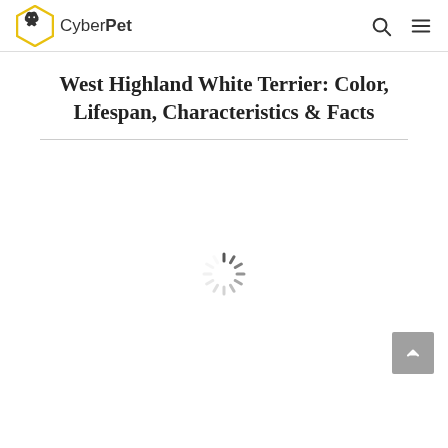CyberPet
West Highland White Terrier: Color, Lifespan, Characteristics & Facts
[Figure (illustration): Loading spinner (circular dashed progress indicator) in the center of a blank white content area, with a back-to-top arrow button in the bottom right corner]